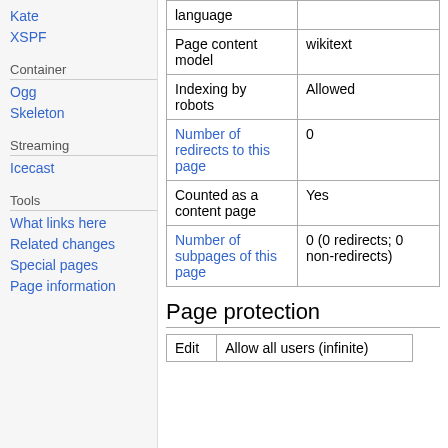Kate
XSPF
Container
Ogg
Skeleton
Streaming
Icecast
Tools
What links here
Related changes
Special pages
Page information
|  |  |
| --- | --- |
| language |  |
| Page content model | wikitext |
| Indexing by robots | Allowed |
| Number of redirects to this page | 0 |
| Counted as a content page | Yes |
| Number of subpages of this page | 0 (0 redirects; 0 non-redirects) |
Page protection
| Edit | Allow all users (infinite) |
| --- | --- |